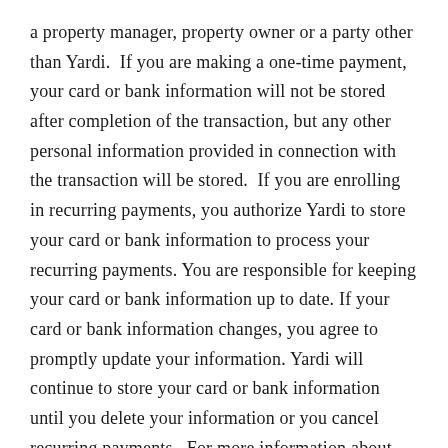a property manager, property owner or a party other than Yardi.  If you are making a one-time payment, your card or bank information will not be stored after completion of the transaction, but any other personal information provided in connection with the transaction will be stored.  If you are enrolling in recurring payments, you authorize Yardi to store your card or bank information to process your recurring payments. You are responsible for keeping your card or bank information up to date. If your card or bank information changes, you agree to promptly update your information. Yardi will continue to store your card or bank information until you delete your information or you cancel recurring payments.  For more information about how we store and use your card, bank or other personal information, please see our Privacy Policy.